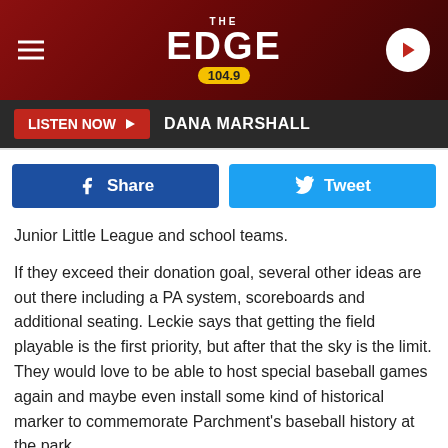[Figure (logo): The Edge 104.9 radio station logo with hamburger menu icon on left and play button on right, on a dark red background]
LISTEN NOW ▶  DANA MARSHALL
[Figure (infographic): Facebook Share button (blue) and Twitter Tweet button (cyan) side by side]
Junior Little League and school teams.
If they exceed their donation goal, several other ideas are out there including a PA system, scoreboards and additional seating. Leckie says that getting the field playable is the first priority, but after that the sky is the limit. They would love to be able to host special baseball games again and maybe even install some kind of historical marker to commemorate Parchment's baseball history at the park.